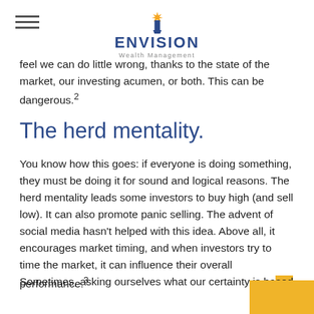Envision Wealth Management
feel we can do little wrong, thanks to the state of the market, our investing acumen, or both. This can be dangerous.²
The herd mentality.
You know how this goes: if everyone is doing something, they must be doing it for sound and logical reasons. The herd mentality leads some investors to buy high (and sell low). It can also promote panic selling. The advent of social media hasn't helped with this idea. Above all, it encourages market timing, and when investors try to time the market, it can influence their overall performance.³
Sometimes, asking ourselves what our certainty is based on and reflecting on ourselves can be helpful and informative. Examining our preconceptions may help us so...